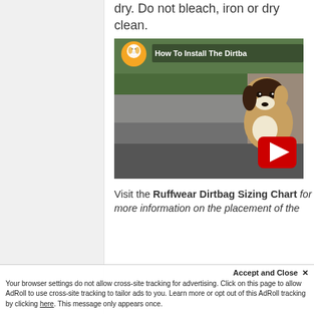dry. Do not bleach, iron or dry clean.
[Figure (screenshot): YouTube video thumbnail showing a dog in a car with a seat cover. Title reads 'How To Install The Dirtba...' with a yellow circle logo and red YouTube play button.]
Visit the Ruffwear Dirtbag Sizing Chart for more information on the placement of the
Your browser settings do not allow cross-site tracking for advertising. Click on this page to allow AdRoll to use cross-site tracking to tailor ads to you. Learn more or opt out of this AdRoll tracking by clicking here. This message only appears once.